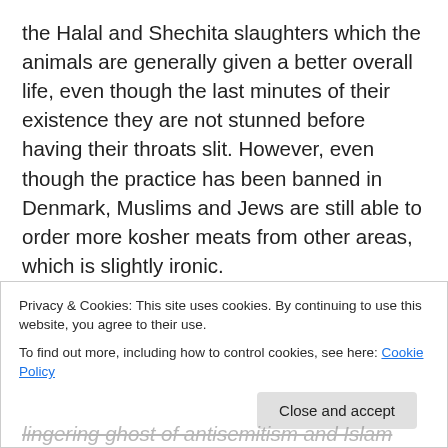the Halal and Shechita slaughters which the animals are generally given a better overall life, even though the last minutes of their existence they are not stunned before having their throats slit. However, even though the practice has been banned in Denmark, Muslims and Jews are still able to order more kosher meats from other areas, which is slightly ironic.

When it comes down to it, this new law has ironic tendencies, such as the mass murdering of livestock for public consumption rather than the ritual killing for
Privacy & Cookies: This site uses cookies. By continuing to use this website, you agree to their use.
To find out more, including how to control cookies, see here: Cookie Policy
Close and accept
lingering ghost of antisemitism and Islam phobia which is